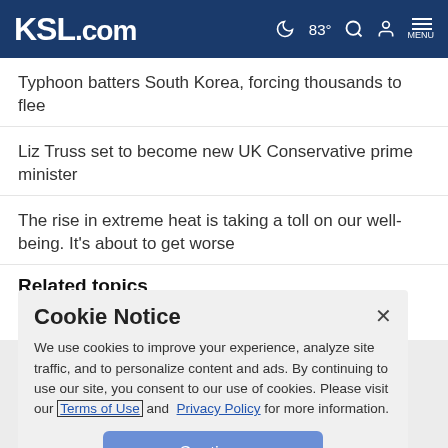KSL.com  🌙 83° 🔍 👤 MENU
Typhoon batters South Korea, forcing thousands to flee
Liz Truss set to become new UK Conservative prime minister
The rise in extreme heat is taking a toll on our well-being. It's about to get worse
Related topics
Cookie Notice

We use cookies to improve your experience, analyze site traffic, and to personalize content and ads. By continuing to use our site, you consent to our use of cookies. Please visit our Terms of Use and Privacy Policy for more information.

Continue